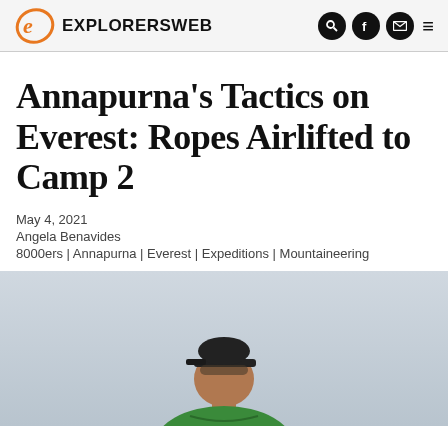EXPLORERSWEB
Annapurna’s Tactics on Everest: Ropes Airlifted to Camp 2
May 4, 2021
Angela Benavides
8000ers | Annapurna | Everest | Expeditions | Mountaineering
[Figure (photo): Person wearing a cap and green jacket, photographed from below against a light grey/overcast sky background.]